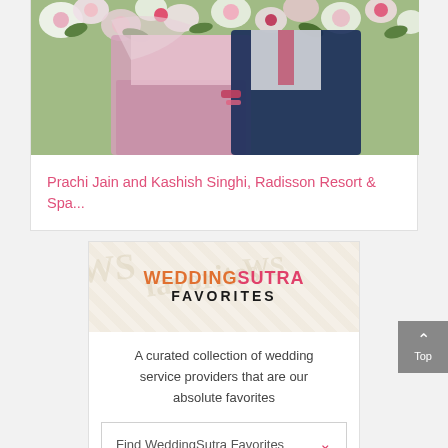[Figure (photo): Wedding couple photo — bride in pink lehenga and groom in navy suit, standing in front of a floral backdrop with colorful flowers]
Prachi Jain and Kashish Singhi, Radisson Resort & Spa...
[Figure (logo): WeddingSutra Favorites banner with decorative floral watermark background]
A curated collection of wedding service providers that are our absolute favorites
Find WeddingSutra Favorites